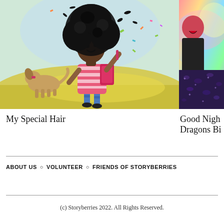[Figure (illustration): Colorful children's book illustration showing a young Black girl with a large afro hairstyle wearing a pink striped shirt and blue jeans, holding something small, with a dog beside her on a yellow-green grassy outdoor background with confetti-like pieces in the air]
[Figure (illustration): Partial view of another children's book cover showing a person with colorful rainbow background and what appears to be a dark patterned fabric or wing element]
My Special Hair
Good Night Dragons Bi
ABOUT US ○ VOLUNTEER ○ FRIENDS OF STORYBERRIES
(c) Storyberries 2022. All Rights Reserved.